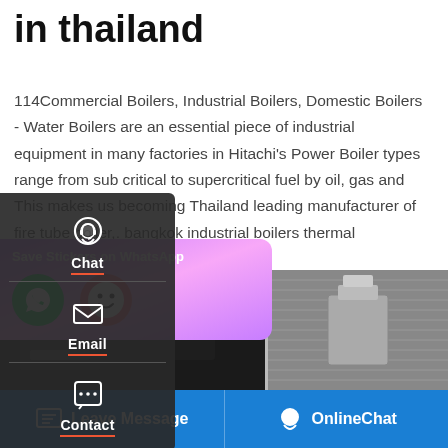in thailand
114Commercial Boilers, Industrial Boilers, Domestic Boilers - Water Boilers are an essential piece of industrial equipment in many factories in Hitachi's Power Boiler types range from sub critical to supercritical fuel by oil, gas and This makes us becoming Thailand leading manufacturer of fire tube boiler,. bangkok industrial boilers thermal
[Figure (screenshot): Get a Quote yellow button and up-arrow button]
[Figure (screenshot): Left sidebar panel with Chat, Email, Contact icons on dark background]
[Figure (photo): Industrial boiler equipment photo strip with dark machinery on left and metallic equipment on right]
[Figure (screenshot): WhatsApp Save Stickers overlay with purple gradient background and icons]
[Figure (screenshot): Bottom blue bar with Leave Message and OnlineChat buttons]